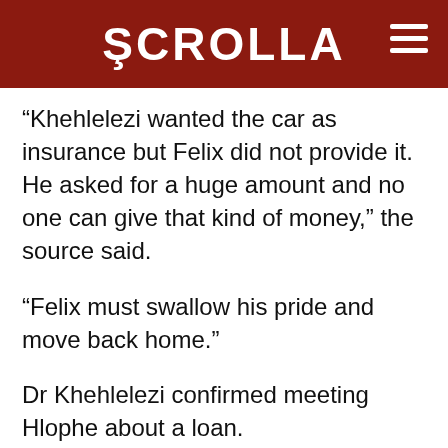SCROLLA
“Khehlelezi wanted the car as insurance but Felix did not provide it. He asked for a huge amount and no one can give that kind of money,” the source said.
“Felix must swallow his pride and move back home.”
Dr Khehlelezi confirmed meeting Hlophe about a loan.
“He came to me to ask for money to pay for his kid’s education but the amount is between us,” he told Scrolla.Africa.